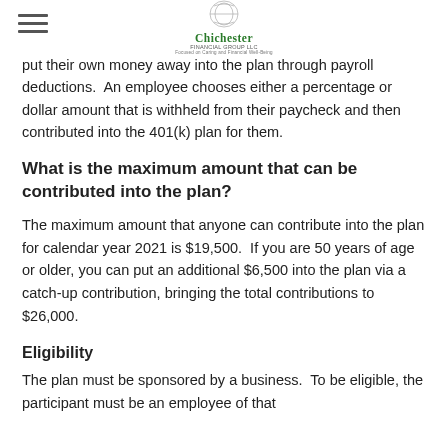Chichester Financial Group LLC
put their own money away into the plan through payroll deductions.  An employee chooses either a percentage or dollar amount that is withheld from their paycheck and then contributed into the 401(k) plan for them.
What is the maximum amount that can be contributed into the plan?
The maximum amount that anyone can contribute into the plan for calendar year 2021 is $19,500.  If you are 50 years of age or older, you can put an additional $6,500 into the plan via a catch-up contribution, bringing the total contributions to $26,000.
Eligibility
The plan must be sponsored by a business.  To be eligible, the participant must be an employee of that